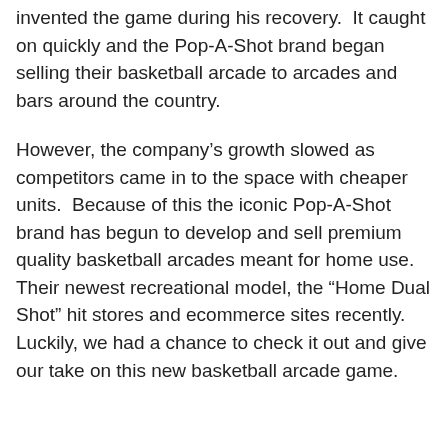invented the game during his recovery.  It caught on quickly and the Pop-A-Shot brand began selling their basketball arcade to arcades and bars around the country.
However, the company's growth slowed as competitors came in to the space with cheaper units.  Because of this the iconic Pop-A-Shot brand has begun to develop and sell premium quality basketball arcades meant for home use.  Their newest recreational model, the “Home Dual Shot” hit stores and ecommerce sites recently.  Luckily, we had a chance to check it out and give our take on this new basketball arcade game.